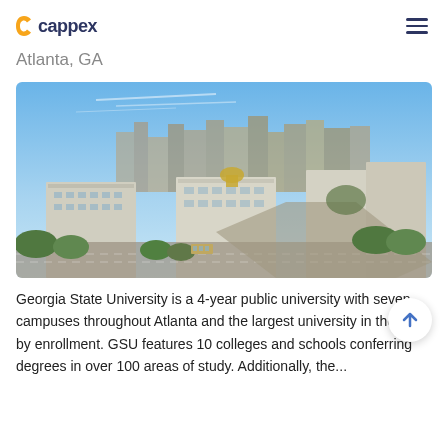cappex
Atlanta, GA
[Figure (photo): Aerial view of Atlanta city skyline with downtown buildings, Georgia State Capitol dome visible, urban campus area with large government/university buildings in foreground, highways, and greenery. Blue sky with light clouds.]
Georgia State University is a 4-year public university with seven campuses throughout Atlanta and the largest university in the state by enrollment. GSU features 10 colleges and schools conferring degrees in over 100 areas of study. Additionally, the...